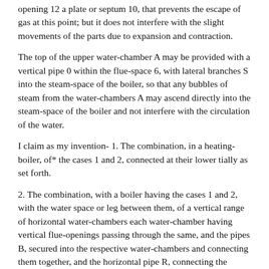opening 12 a plate or septum 10, that prevents the escape of gas at this point; but it does not interfere with the slight movements of the parts due to expansion and contraction.
The top of the upper water-chamber A may be provided with a vertical pipe 0 within the flue-space 6, with lateral branches S into the steam-space of the boiler, so that any bubbles of steam from the water-chambers A may ascend directly into the steam-space of the boiler and not interfere with the circulation of the water.
I claim as my invention- 1. The combination, in a heating-boiler, of* the cases 1 and 2, connected at their lower tially as set forth.
2. The combination, with a boiler having the cases 1 and 2, with the water space or leg between them, of a vertical range of horizontal water-chambers each water-chamber having vertical flue-openings passing through the same, and the pipes B, secured into the respective water-chambers and connecting them together, and the horizontal pipe R, connecting the bottom of the lower water-chamber with the shell of the boiler, substantially. as set forth. 4